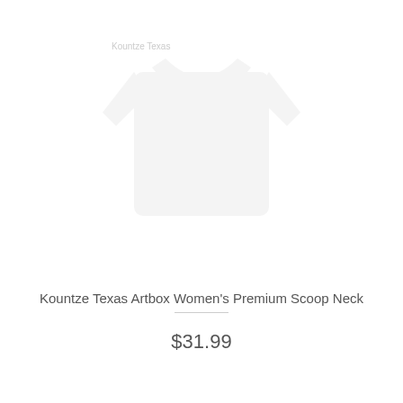[Figure (photo): Product image area showing a faint/light image of a women's scoop neck shirt, mostly white/washed out]
Kountze Texas Artbox Women's Premium Scoop Neck
$31.99